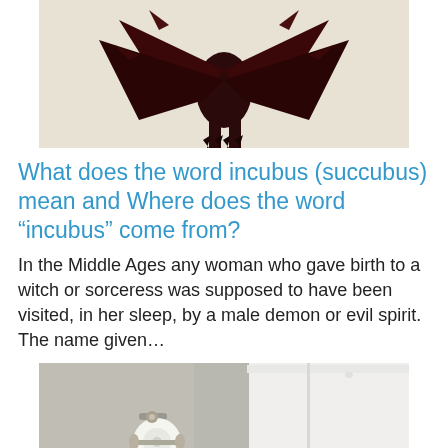[Figure (photo): Partial image of a dark red/black demonic figure with claws and cape-like wings against a beige background]
What does the word incubus (succubus) mean and Where does the word “incubus” come from?
In the Middle Ages any woman who gave birth to a witch or sorceress was supposed to have been visited, in her sleep, by a male demon or evil spirit. The name given…
[Figure (photo): Photo of a bathroom with a toilet paper holder with roll on the left and a white toilet tank on the right, against a grey/beige wall]